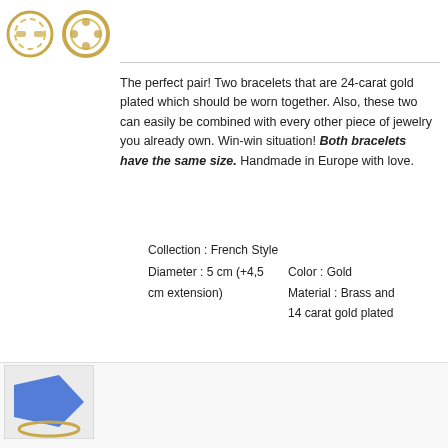[Figure (photo): Two gold bracelets shown side by side — one paperclip style and one chain link style — displayed as thumbnail images in the top left corner]
The perfect pair! Two bracelets that are 24-carat gold plated which should be worn together. Also, these two can easily be combined with every other piece of jewelry you already own. Win-win situation! Both bracelets have the same size. Handmade in Europe with love.
Collection : French Style
Color : Gold
Diameter : 5 cm (+4,5 cm extension)
Material : Brass and 14 carat gold plated
[Figure (photo): Thumbnail image partially visible showing a blue shape, and below it a gold chain bracelet]
Alice Bracelet Black Diamond
€63,00
[Figure (other): WhatsApp button — red circle with white WhatsApp phone icon and a notification badge showing 1]